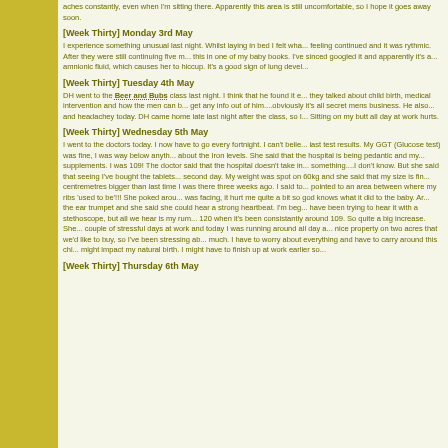aches constantly, even when I'm sitting there. Apparently this area is still uncomfortable, so I hope it goes away soon.
[Week Thirty] Monday 3rd May
I experience something unusual last night. Whilst laying in bed I felt wha... feeling continued and it was rythmic. After they were still continuing five ... this in one of my baby books. I've sinced googled it and apparently it's a... amnionic fluid, which causes her to hiccup. It's a good sign of lung devel...
[Week Thirty] Tuesday 4th May
DH went to the Beer and Bubs class last night. I think that he found it e... they talked about child birth, medical intervention and how the men can... get any info out of him....obviously it's all secret mens business. He also... and headachey today. DH came home late last night after the class, so I... Sitting on my butt all day at work hurts.
[Week Thirty] Wednesday 5th May
I went to the doctors today. I now have to go every fortnight. I can't belie... last test results. My GGT (Glucose test) was fine, I was way below anyth... about the Iron levels. She said that the hospital is being pedantic and my... supplements. I was 109! The doctor said that the hospital doesn't take in... something....I don't know. But she said that seeing I've bought the tablets... second day. My weight was spot on 60kg and she said that my size is fin... centremetres bigger than last time I was there three weeks ago. I said to... pointed to an area between where my ribs 'used to be'!!! She poked arou... was facing, it hurt me quite a bit so god knows what it did to the baby. Ar... the ear trumpet and she said she could hear a strong heartbeat. I'm beg... have been trying to hear it with a stethoscope, but all we hear is my rum... 120 when it's been consistantly around 109. So quite a big increase. She... couple of stressful days at work and today I was running around all day a... nice property on two acres that we'd like to buy, so I've been stressing ab... much. I have to worry about everything and have to carry around this chi... might impact my natural birth. I might have to finish up at work earlier so...
[Week Thirty] Thursday 6th May